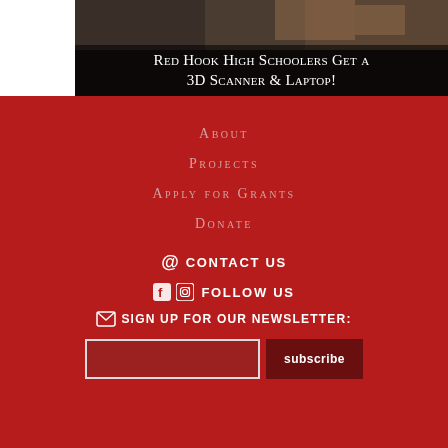[Figure (photo): Photo of high school students using a 3D scanner and laptop, partially visible at top of page with dark overlay showing title text.]
Red Hook High Schoolers Get a 3D Scanner & Laptop!
ABOUT
PROJECTS
APPLY FOR GRANTS
DONATE
@ CONTACT US
f @ FOLLOW US
✉ SIGN UP FOR OUR NEWSLETTER: